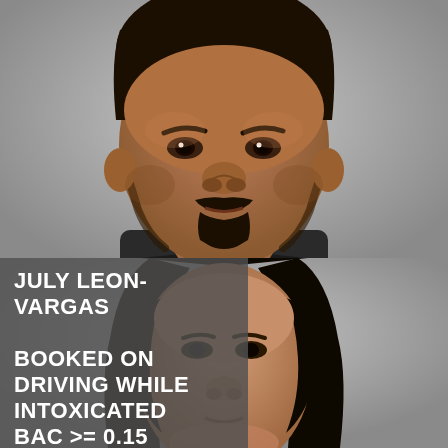[Figure (photo): Mugshot of a Hispanic male with mustache and goatee, wearing a dark jacket, against a gray background. Close-up face photo showing from top of head to upper chest.]
[Figure (photo): Partial mugshot of a Hispanic female with long dark hair, against a gray background. Close-up showing top of head and face from forehead to nose.]
JULY LEON-VARGAS BOOKED ON DRIVING WHILE INTOXICATED BAC >= 0.15